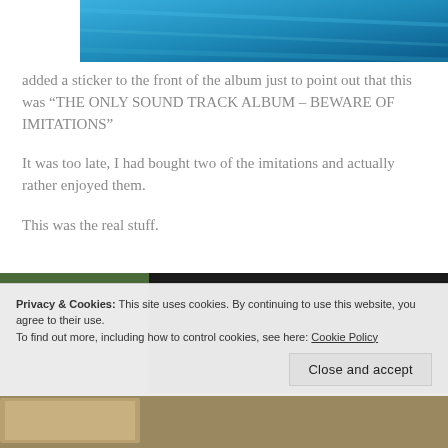[Figure (photo): Top portion of a blue metallic/textured album cover, cropped at top of page]
added a sticker to the front of the album just to point out that this was “THE ONLY SOUND TRACK ALBUM – BEWARE OF IMITATIONS”
It was too late, I had bought two of the imitations and actually rather enjoyed them.
This was the real stuff.
[Figure (photo): Bottom portion showing a dark photo, partially obscured by cookie banner, with a lighter strip at the very bottom showing what appears to be an album cover image]
Privacy & Cookies: This site uses cookies. By continuing to use this website, you agree to their use.
To find out more, including how to control cookies, see here: Cookie Policy
Close and accept